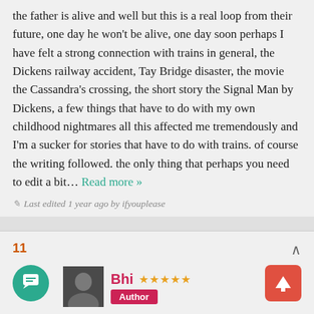the father is alive and well but this is a real loop from their future, one day he won't be alive, one day soon perhaps I have felt a strong connection with trains in general, the Dickens railway accident, Tay Bridge disaster, the movie the Cassandra's crossing, the short story the Signal Man by Dickens, a few things that have to do with my own childhood nightmares all this affected me tremendously and I'm a sucker for stories that have to do with trains. of course the writing followed. the only thing that perhaps you need to edit a bit... Read more »
Last edited 1 year ago by ifyouplease
11
Bhi ★★★★★ Author